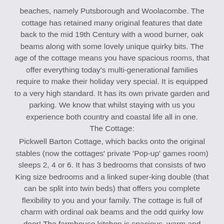beaches, namely Putsborough and Woolacombe. The cottage has retained many original features that date back to the mid 19th Century with a wood burner, oak beams along with some lovely unique quirky bits. The age of the cottage means you have spacious rooms, that offer everything today's multi-generational families require to make their holiday very special. It is equipped to a very high standard. It has its own private garden and parking. We know that whilst staying with us you experience both country and coastal life all in one.
The Cottage:
Pickwell Barton Cottage, which backs onto the original stables (now the cottages' private 'Pop-up' games room) sleeps 2, 4 or 6. It has 3 bedrooms that consists of two King size bedrooms and a linked super-king double (that can be split into twin beds) that offers you complete flexibility to you and your family. The cottage is full of charm with ordinal oak beams and the odd quirky low door! The farmhouse kitchen is spacious, warm and inviting, as is the lounge with cosy sofa and chairs and